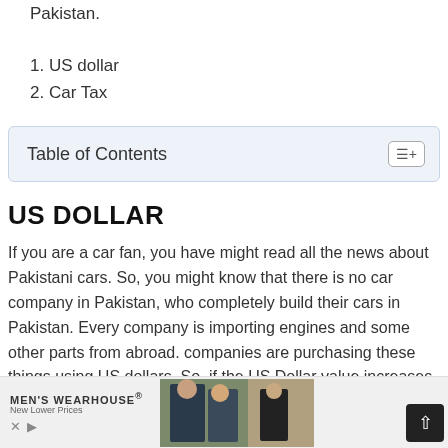Pakistan.
1. US dollar
2. Car Tax
Table of Contents
US DOLLAR
If you are a car fan, you have might read all the news about Pakistani cars. So, you might know that there is no car company in Pakistan, who completely build their cars in Pakistan. Every company is importing engines and some other parts from abroad. companies are purchasing these things using US dollars. So, if the US Dollar value increases
[Figure (screenshot): Advertisement banner for Men's Wearhouse with photos of people in suits and a scroll-to-top button]